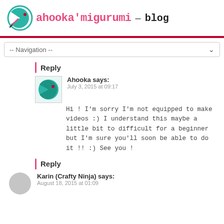ahooka'migurumi – blog
-- Navigation --
Reply
Ahooka says: July 3, 2015 at 09:17
Hi ! I'm sorry I'm not equipped to make videos :) I understand this maybe a little bit to difficult for a beginner but I'm sure you'll soon be able to do it !! :) See you !
Reply
Karin (Crafty Ninja) says: August 18, 2015 at 01:09